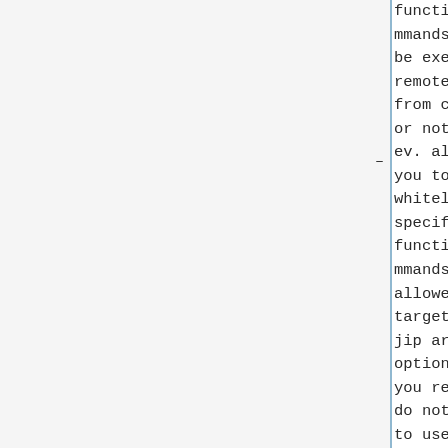functions/commands can be executed remotely from client or not and ev. allows you to whitelist specific functions/commands. The allowed targets and jip are very optional and you really do not need to use them, unless you want to be super safe.